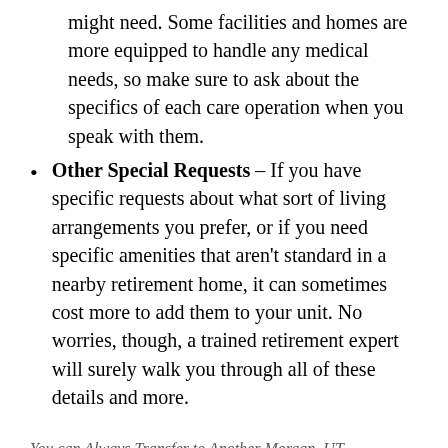might need. Some facilities and homes are more equipped to handle any medical needs, so make sure to ask about the specifics of each care operation when you speak with them.
Other Special Requests – If you have specific requests about what sort of living arrangements you prefer, or if you need specific amenities that aren't standard in a nearby retirement home, it can sometimes cost more to add them to your unit. No worries, though, a trained retirement expert will surely walk you through all of these details and more.
You can Always Transfer to Another Morgan, UT Senior Home)